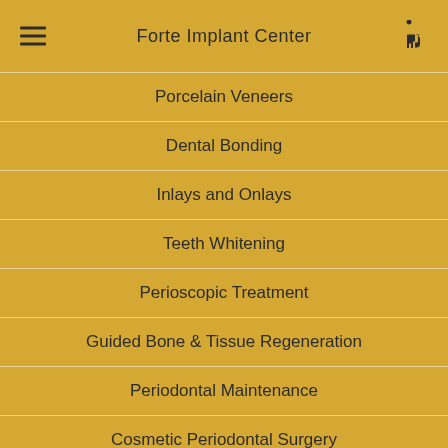Forte Implant Center
Porcelain Veneers
Dental Bonding
Inlays and Onlays
Teeth Whitening
Perioscopic Treatment
Guided Bone & Tissue Regeneration
Periodontal Maintenance
Cosmetic Periodontal Surgery
[Figure (illustration): Wheelchair accessibility icon — white wheelchair symbol on dark circular background]
Directions to Our